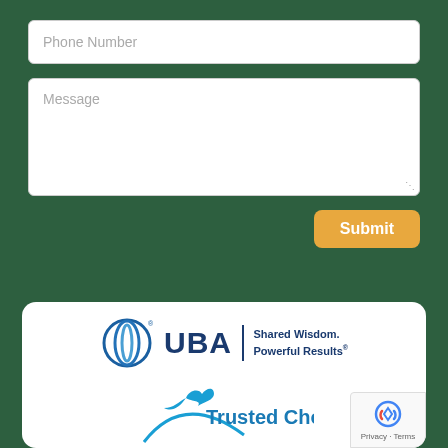Phone Number
Message
Submit
[Figure (logo): UBA logo with globe-like concentric arcs symbol, text 'UBA', vertical divider, and tagline 'Shared Wisdom. Powerful Results®']
[Figure (logo): Trusted Choice® logo with a stylized blue eagle/bird and swooping arc, text 'Trusted Choice®', subtitle 'INDEPENDENT INSURANCE AGENTS']